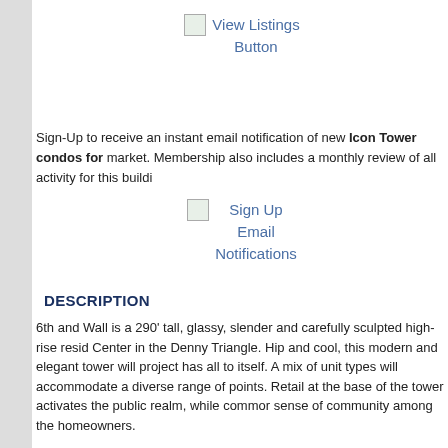[Figure (screenshot): View Listings Button image placeholder with link text]
Sign-Up to receive an instant email notification of new Icon Tower condos for market. Membership also includes a monthly review of all activity for this buildi
[Figure (screenshot): Sign Up Email Notifications button image placeholder]
DESCRIPTION
6th and Wall is a 290' tall, glassy, slender and carefully sculpted high-rise resid Center in the Denny Triangle. Hip and cool, this modern and elegant tower will project has all to itself. A mix of unit types will accommodate a diverse range of points. Retail at the base of the tower activates the public realm, while commor sense of community among the homeowners.
ADDITIONAL OPINIONS & REVIEWS
[Figure (screenshot): Row of external site link images: seattle condos and lofts, emporis, nwsource, seattle condo review, and one more]
*Data is deemed to be reliable, but not guaranteed. In some cases, number of and residential spaces and/or height may or may not include a 13th floor.